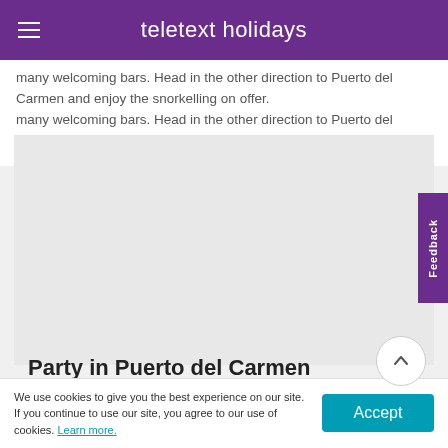teletext holidays
many welcoming bars. Head in the other direction to Puerto del Carmen and enjoy the snorkelling on offer.
[Figure (photo): Large image placeholder area (gray/light colored), likely a photo of Puerto del Carmen]
Party in Puerto del Carmen
Puerto del Carmen is the place to go if you're looking
We use cookies to give you the best experience on our site. If you continue to use our site, you agree to our use of cookies. Learn more.